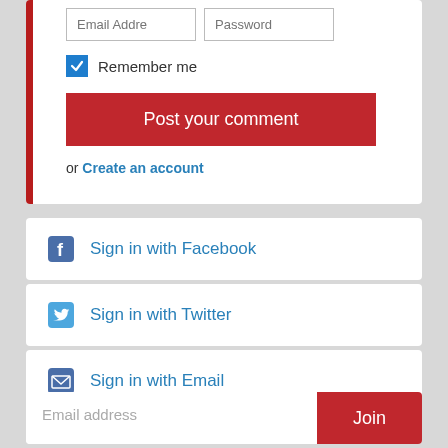[Figure (screenshot): Login form with email address and password input fields, a checked 'Remember me' checkbox, a red 'Post your comment' button, and an 'or Create an account' link]
Sign in with Facebook
Sign in with Twitter
Sign in with Email
Email address   Join